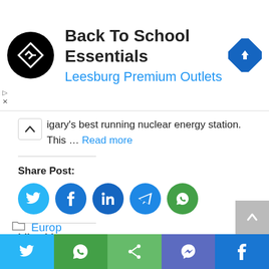[Figure (screenshot): Advertisement banner for Back To School Essentials at Leesburg Premium Outlets, with logo and navigation icon]
igary's best running nuclear energy station. This … Read more
Share Post:
[Figure (infographic): Social share icons: Twitter, Facebook, LinkedIn, Telegram, WhatsApp]
Like this:
Loading...
Europ
[Figure (infographic): Bottom share bar with Twitter, WhatsApp, Share, Messenger, Facebook buttons]